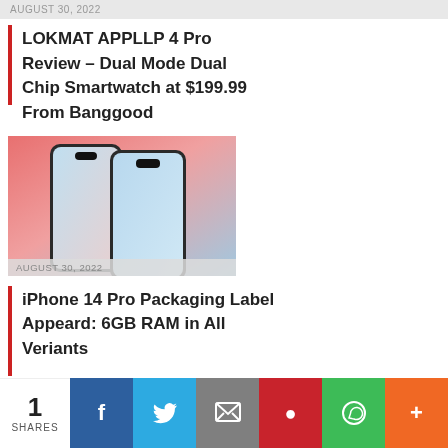AUGUST 30, 2022
LOKMAT APPLLP 4 Pro Review – Dual Mode Dual Chip Smartwatch at $199.99 From Banggood
[Figure (photo): Two smartphones (iPhone 14 Pro style) standing upright against a pink and blue gradient background, showing thin bezels and Dynamic Island cutouts]
AUGUST 30, 2022
iPhone 14 Pro Packaging Label Appeard: 6GB RAM in All Veriants
1 SHARES  Facebook  Twitter  Email  Pinterest  WhatsApp  More